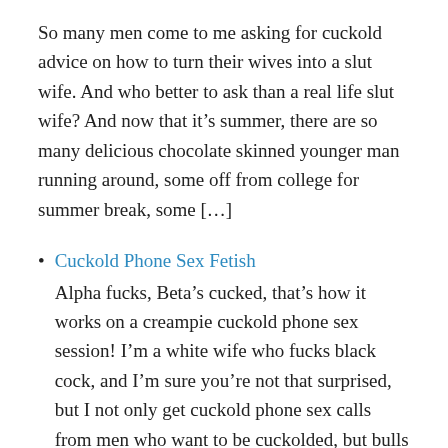So many men come to me asking for cuckold advice on how to turn their wives into a slut wife. And who better to ask than a real life slut wife? And now that it’s summer, there are so many delicious chocolate skinned younger man running around, some off from college for summer break, some [...]
Cuckold Phone Sex Fetish
Alpha fucks, Beta’s cucked, that’s how it works on a creampie cuckold phone sex session! I’m a white wife who fucks black cock, and I’m sure you’re not that surprised, but I not only get cuckold phone sex calls from men who want to be cuckolded, but bulls too! My husband knows he has a [...]